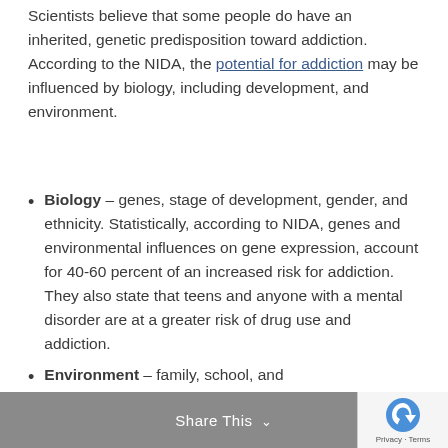Scientists believe that some people do have an inherited, genetic predisposition toward addiction. According to the NIDA, the potential for addiction may be influenced by biology, including development, and environment.
Biology – genes, stage of development, gender, and ethnicity. Statistically, according to NIDA, genes and environmental influences on gene expression, account for 40-60 percent of an increased risk for addiction. They also state that teens and anyone with a mental disorder are at a greater risk of drug use and addiction.
Environment – family, school, and
Share This